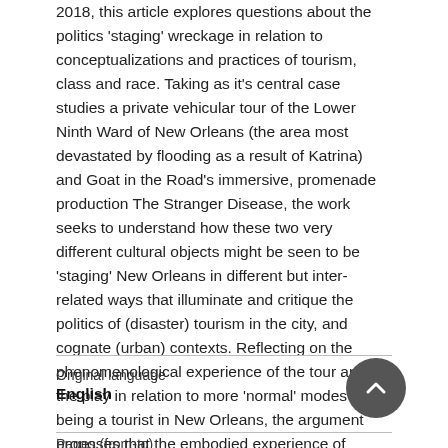2018, this article explores questions about the politics 'staging' wreckage in relation to conceptualizations and practices of tourism, class and race. Taking as it's central case studies a private vehicular tour of the Lower Ninth Ward of New Orleans (the area most devastated by flooding as a result of Katrina) and Goat in the Road's immersive, promenade production The Stranger Disease, the work seeks to understand how these two very different cultural objects might be seen to be 'staging' New Orleans in different but inter-related ways that illuminate and critique the politics of (disaster) tourism in the city, and cognate (urban) contexts. Reflecting on the phenomenological experience of the tour and the play in relation to more 'normal' modes of being a tourist in New Orleans, the argument proposes that the embodied experience of performance spectatorship can make radical interventions into process and practice of tourism by rupturing dominant paradigms of power, equity, race and environmental change.
Original language
English
Pages (from-to)